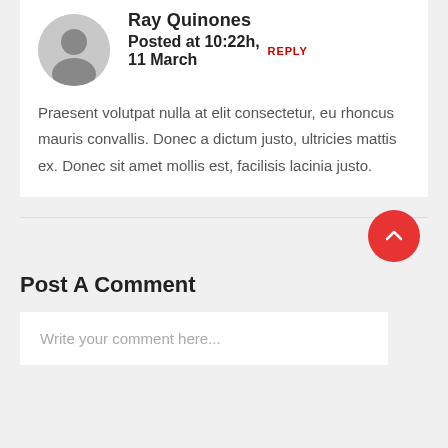Ray Quinones
Posted at 10:22h, 11 March REPLY
Praesent volutpat nulla at elit consectetur, eu rhoncus mauris convallis. Donec a dictum justo, ultricies mattis ex. Donec sit amet mollis est, facilisis lacinia justo.
Post A Comment
Write your comment here...